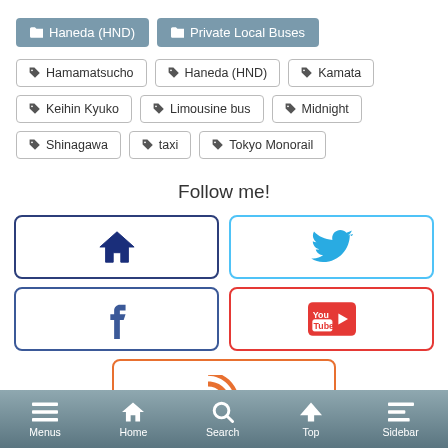📁 Haneda (HND)
📁 Private Local Buses
🏷 Hamamatsucho
🏷 Haneda (HND)
🏷 Kamata
🏷 Keihin Kyuko
🏷 Limousine bus
🏷 Midnight
🏷 Shinagawa
🏷 taxi
🏷 Tokyo Monorail
Follow me!
[Figure (infographic): Social media follow buttons: Home, Twitter, Facebook, YouTube, RSS]
Menus | Home | Search | Top | Sidebar